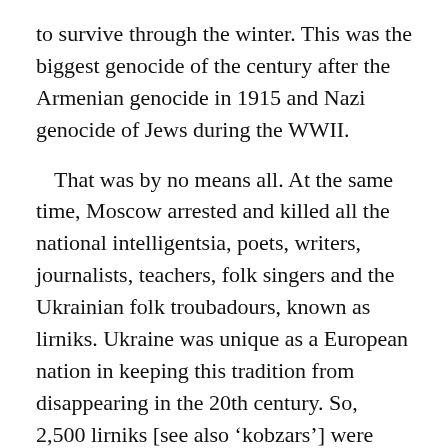to survive through the winter. This was the biggest genocide of the century after the Armenian genocide in 1915 and Nazi genocide of Jews during the WWII.
That was by no means all. At the same time, Moscow arrested and killed all the national intelligentsia, poets, writers, journalists, teachers, folk singers and the Ukrainian folk troubadours, known as lirniks. Ukraine was unique as a European nation in keeping this tradition from disappearing in the 20th century. So, 2,500 lirniks [see also 'kobzars'] were called by Stalin to a pan-Ukrainian congress. All of them were arrested and